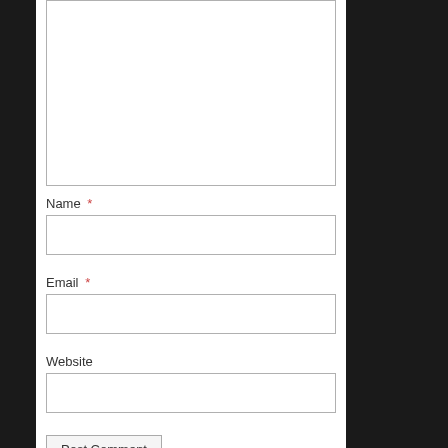[Figure (screenshot): A comment form with a large textarea (empty), followed by Name (required), Email (required), and Website fields, and a Post Comment submit button. The form is on a white background framed by dark sidebars.]
Name *
Email *
Website
Post Comment